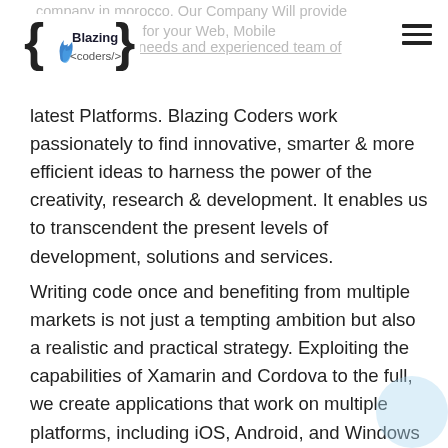company in morocco. Our Company Will provide ...ized Solutions for your Web, Mobile or Cloud based needs and experienced team of
[Figure (logo): Blazing Coders logo with curly braces, flame icon, and text 'Blazing <coders/>']
latest Platforms. Blazing Coders work passionately to find innovative, smarter & more efficient ideas to harness the power of the creativity, research & development. It enables us to transcendent the present levels of development, solutions and services.
Writing code once and benefiting from multiple markets is not just a tempting ambition but also a realistic and practical strategy. Exploiting the capabilities of Xamarin and Cordova to the full, we create applications that work on multiple platforms, including iOS, Android, and Windows Phone, with a near-original functionality and preserved design